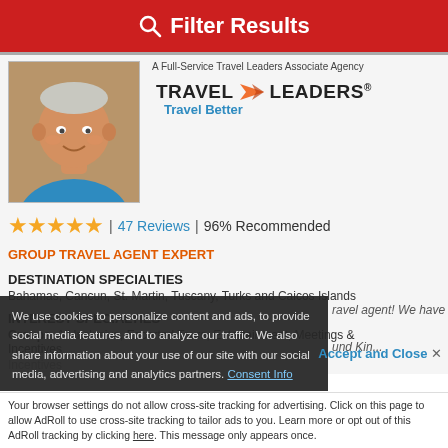Filter Results
A Full-Service Travel Leaders Associate Agency
[Figure (logo): Travel Leaders logo with orange arrow and 'Travel Better' tagline]
★★★★★ | 47 Reviews | 96% Recommended
GROUP TRAVEL AGENT EXPERT
DESTINATION SPECIALTIES
Bahamas, Cancun, St. Martin, Tuscany, Turks and Caicos Islands
INTEREST SPECIALTIES
Groups, All Inclusive, Escorted Tours, Entertainment, Meetings & Incentives
We use cookies to personalize content and ads, to provide social media features and to analyze our traffic. We also share information about your use of our site with our social media, advertising and analytics partners. Consent Info
Accept and Close ✕
...ravel agent! We have
...und Kin...
Your browser settings do not allow cross-site tracking for advertising. Click on this page to allow AdRoll to use cross-site tracking to tailor ads to you. Learn more or opt out of this AdRoll tracking by clicking here. This message only appears once.